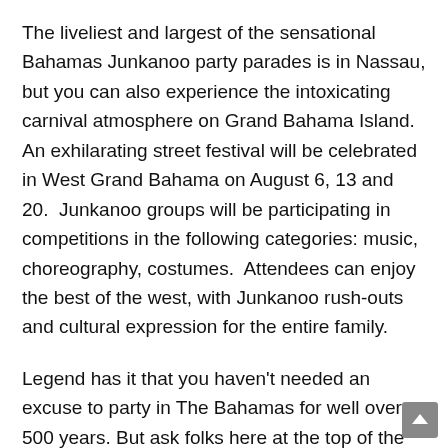The liveliest and largest of the sensational Bahamas Junkanoo party parades is in Nassau, but you can also experience the intoxicating carnival atmosphere on Grand Bahama Island. An exhilarating street festival will be celebrated in West Grand Bahama on August 6, 13 and 20. Junkanoo groups will be participating in competitions in the following categories: music, choreography, costumes. Attendees can enjoy the best of the west, with Junkanoo rush-outs and cultural expression for the entire family.
Legend has it that you haven't needed an excuse to party in The Bahamas for well over 500 years. But ask folks here at the top of the Caribbean how The Bahamas Junkanoo Tradition got started and they'll all tell you a different story; with many believing it was established by John Canoe, a